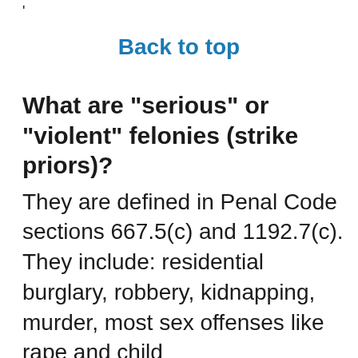'
Back to top
What are "serious" or "violent" felonies (strike priors)?
They are defined in Penal Code sections 667.5(c) and 1192.7(c). They include: residential burglary, robbery, kidnapping, murder, most sex offenses like rape and child